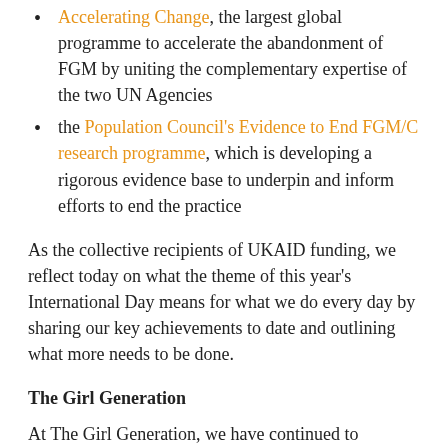Accelerating Change, the largest global programme to accelerate the abandonment of FGM by uniting the complementary expertise of the two UN Agencies
the Population Council's Evidence to End FGM/C research programme, which is developing a rigorous evidence base to underpin and inform efforts to end the practice
As the collective recipients of UKAID funding, we reflect today on what the theme of this year's International Day means for what we do every day by sharing our key achievements to date and outlining what more needs to be done.
The Girl Generation
At The Girl Generation, we have continued to strengthen the global movement to end FGM with a number of successes, including: